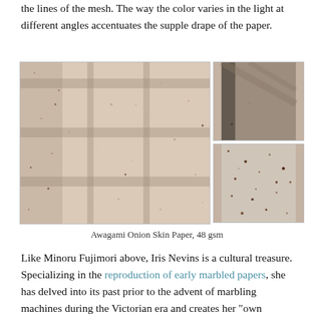the lines of the mesh. The way the color varies in the light at different angles accentuates the supple drape of the paper.
[Figure (photo): Three photos of Awagami Onion Skin Paper 48 gsm showing texture and light playing through a grid/mesh pattern. Left: large photo showing diagonal shadow grid on pale beige speckled paper. Top right: close-up of same paper with shadow lines. Bottom right: close-up of paper texture with dark speckles.]
Awagami Onion Skin Paper, 48 gsm
Like Minoru Fujimori above, Iris Nevins is a cultural treasure. Specializing in the reproduction of early marbled papers, she has delved into its past prior to the advent of marbling machines during the Victorian era and creates her "own marbling colors